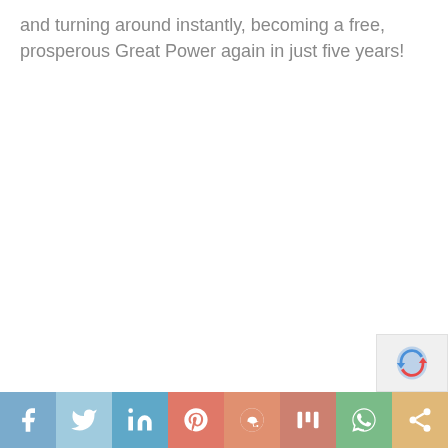and turning around instantly, becoming a free, prosperous Great Power again in just five years!
Social share bar: Facebook, Twitter, LinkedIn, Pinterest, Reddit, Mix, WhatsApp, Share